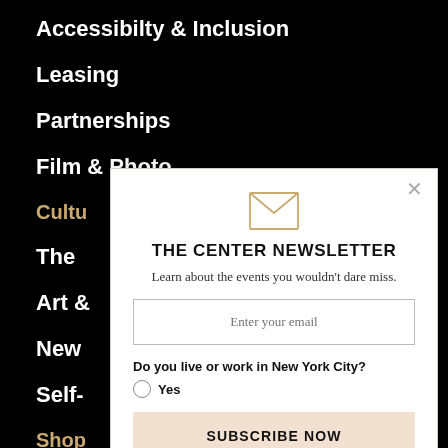Accessibilty & Inclusion
Leasing
Partnerships
Film & Photo
Cultu
The
Art &
New
Self-
Shop
[Figure (illustration): Envelope icon in tan/gold outline style]
THE CENTER NEWSLETTER
Learn about the events you wouldn't dare miss.
Enter your email
Do you live or work in New York City?
Yes
SUBSCRIBE NOW